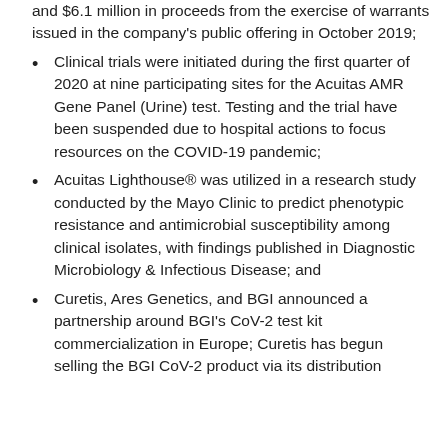and $6.1 million in proceeds from the exercise of warrants issued in the company’s public offering in October 2019;
Clinical trials were initiated during the first quarter of 2020 at nine participating sites for the Acuitas AMR Gene Panel (Urine) test. Testing and the trial have been suspended due to hospital actions to focus resources on the COVID-19 pandemic;
Acuitas Lighthouse® was utilized in a research study conducted by the Mayo Clinic to predict phenotypic resistance and antimicrobial susceptibility among clinical isolates, with findings published in Diagnostic Microbiology & Infectious Disease; and
Curetis, Ares Genetics, and BGI announced a partnership around BGI’s CoV-2 test kit commercialization in Europe; Curetis has begun selling the BGI CoV-2 product via its distribution